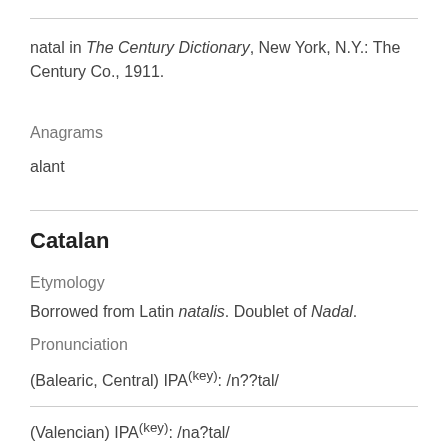natal in The Century Dictionary, New York, N.Y.: The Century Co., 1911.
Anagrams
alant
Catalan
Etymology
Borrowed from Latin natalis. Doublet of Nadal.
Pronunciation
(Balearic, Central) IPA(key): /n??tal/
(Valencian) IPA(key): /na?tal/